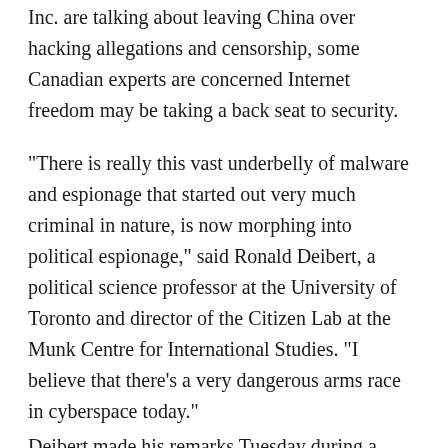Inc. are talking about leaving China over hacking allegations and censorship, some Canadian experts are concerned Internet freedom may be taking a back seat to security.
“There is really this vast underbelly of malware and espionage that started out very much criminal in nature, is now morphing into political espionage,” said Ronald Deibert, a political science professor at the University of Toronto and director of the Citizen Lab at the Munk Centre for International Studies. “I believe that there’s a very dangerous arms race in cyberspace today.”
Deibert made his remarks Tuesday during a panel discussion, dubbed the Role of Internet Giants in Totalitarian States, at York University’s Toronto-based